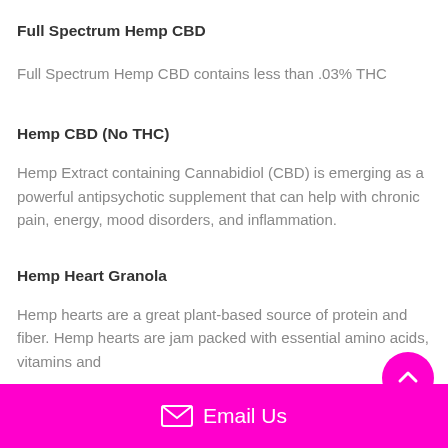Full Spectrum Hemp CBD
Full Spectrum Hemp CBD contains less than .03% THC
Hemp CBD (No THC)
Hemp Extract containing Cannabidiol (CBD) is emerging as a powerful antipsychotic supplement that can help with chronic pain, energy, mood disorders, and inflammation.
Hemp Heart Granola
Hemp hearts are a great plant-based source of protein and fiber. Hemp hearts are jam packed with essential amino acids, vitamins and
Email Us